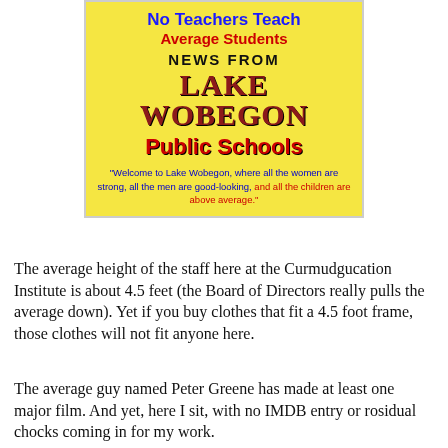[Figure (illustration): Book cover or poster image on yellow background. Title reads 'No Teachers Teach Average Students', 'NEWS FROM LAKE WOBEGON Public Schools', with a quote: 'Welcome to Lake Wobegon, where all the women are strong, all the men are good-looking, and all the children are above average.']
The average height of the staff here at the Curmudgucation Institute is about 4.5 feet (the Board of Directors really pulls the average down). Yet if you buy clothes that fit a 4.5 foot frame, those clothes will not fit anyone here.
The average guy named Peter Greene has made at least one major film. And yet, here I sit, with no IMDB entry or rosidual chocks coming in for my work.